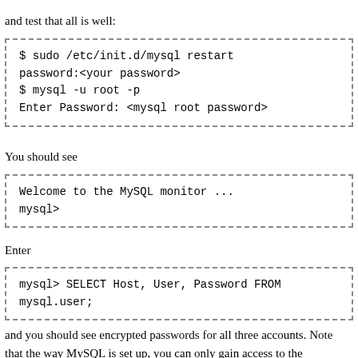and test that all is well:
$ sudo /etc/init.d/mysql restart
password:<your password>
$ mysql -u root -p
Enter Password: <mysql root password>
You should see
Welcome to the MySQL monitor ...
mysql>
Enter
mysql> SELECT Host, User, Password FROM
mysql.user;
and you should see encrypted passwords for all three accounts. Note that the way MySQL is set up, you can only gain access to the